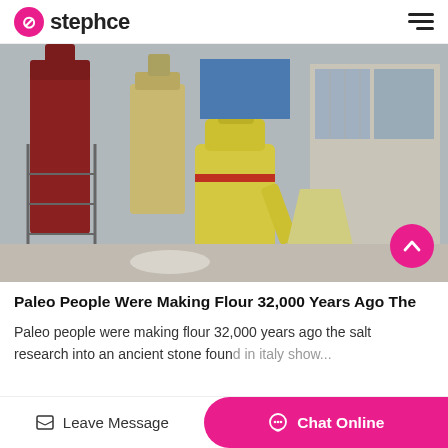stephce
[Figure (photo): Industrial grinding mill machinery at a construction or processing site. A large yellow Raymond-style grinding mill is in the center foreground, with red and beige cylindrical silos and scaffolding in the background. The setting appears to be an outdoor industrial facility.]
Paleo People Were Making Flour 32,000 Years Ago The
Paleo people were making flour 32,000 years ago the salt research into an ancient stone found in italy show...
Leave Message  Chat Online